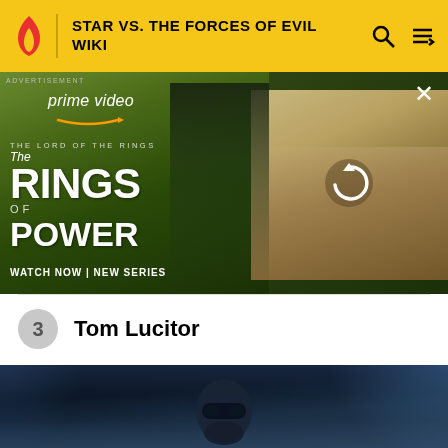STAR VS. THE FORCES OF EVIL WIKI
[Figure (screenshot): Amazon Prime Video advertisement for 'The Lord of the Rings: The Rings of Power' with two panels showing characters and a refresh icon. Text: 'ADVERTISEMENT', 'prime video', 'THE LORD OF THE RINGS THE RINGS OF POWER', 'WATCH NOW | NEW SERIES']
3  Tom Lucitor
[Figure (photo): Dark screenshot showing a helmeted character in a sci-fi/fantasy setting with blue atmospheric lighting]